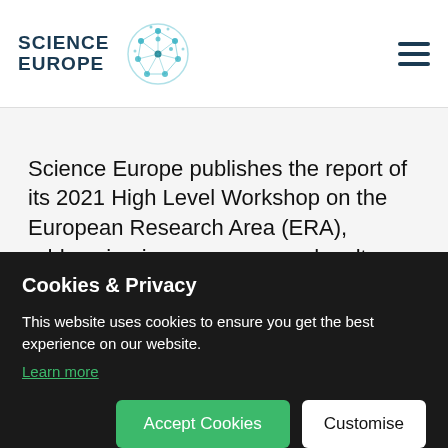[Figure (logo): Science Europe logo with globe/network icon and bold text 'SCIENCE EUROPE']
Science Europe publishes the report of its 2021 High Level Workshop on the European Research Area (ERA), addressing issues on research culture.
Cookies & Privacy
This website uses cookies to ensure you get the best experience on our website.
Learn more
Accept Cookies
Customise